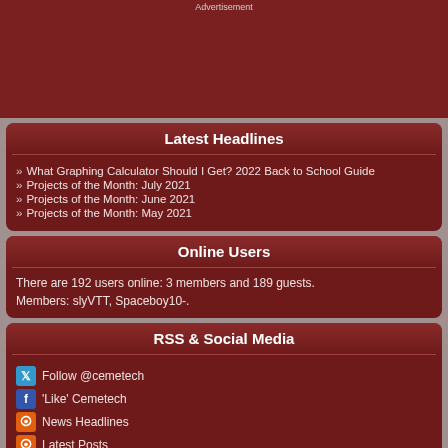Advertisement
Latest Headlines
What Graphing Calculator Should I Get? 2022 Back to School Guide
Projects of the Month: July 2021
Projects of the Month: June 2021
Projects of the Month: May 2021
Online Users
There are 192 users online: 3 members and 189 guests. Members: slyVTT, Spaceboy10-.
RSS & Social Media
Follow @cemetech
'Like' Cemetech
News Headlines
Latest Posts
Latest Uploads